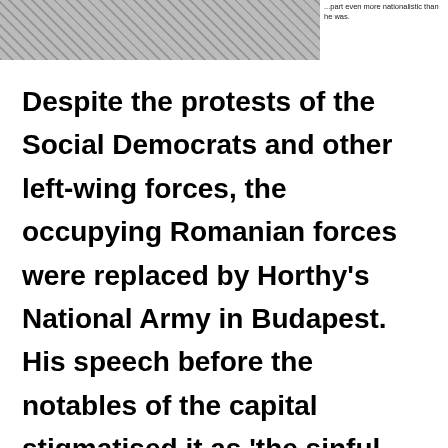[Figure (photo): Black and white historical photograph of people in a forested or outdoor setting, partially visible at top of page]
...part even more nationalistic than he was.
Despite the protests of the Social Democrats and other left-wing forces, the occupying Romanian forces were replaced by Horthy's National Army in Budapest. His speech before the notables of the capital stigmatised it as 'the sinful city' that had rejected its glorious past, Holy Crown and national colours for the